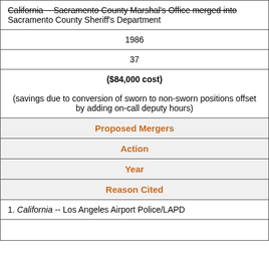| California -- Sacramento County Marshal's Office merged into Sacramento County Sheriff's Department |
| 1986 |
| 37 |
| ($84,000 cost)

(savings due to conversion of sworn to non-sworn positions offset by adding on-call deputy hours) |
| Proposed Mergers |
| Action |
| Year |
| Reason Cited |
| 1. California -- Los Angeles Airport Police/LAPD |